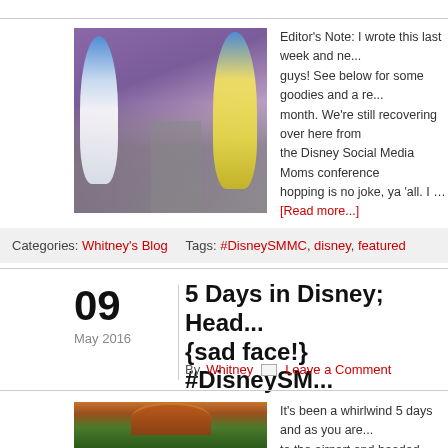[Figure (photo): Photo of two boys with Disney Inside Out character costumes (Sadness and Joy) in front of a purple background]
Editor's Note: I wrote this last week and ne... guys! See below for some goodies and a re... month. We're still recovering over here from the Disney Social Media Moms conference hopping is no joke, ya 'all. I … [Read more...]
Categories: Whitney's Blog   Tags: #DisneySMMC, disney, featured
5 Days in Disney; Head... {sad face!} #DisneySM...
By Whitney  Leave a Comment
[Figure (photo): Photo of a Japanese torii gate with trees]
It's been a whirlwind 5 days and as you are... to the airport and headed home from Orla...